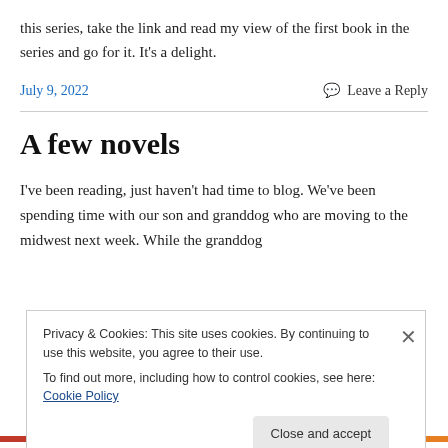this series, take the link and read my view of the first book in the series and go for it. It's a delight.
July 9, 2022
Leave a Reply
A few novels
I've been reading, just haven't had time to blog. We've been spending time with our son and granddog who are moving to the midwest next week. While the granddog
Privacy & Cookies: This site uses cookies. By continuing to use this website, you agree to their use.
To find out more, including how to control cookies, see here: Cookie Policy
Close and accept